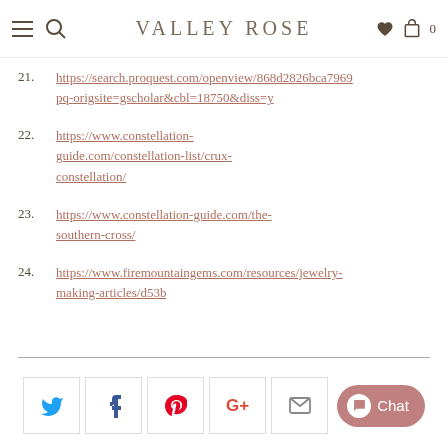VALLEY ROSE
21. https://search.proquest.com/openview/868d2826bca7969...pq-origsite=gscholar&cbl=18750&diss=y
22. https://www.constellation-guide.com/constellation-list/crux-constellation/
23. https://www.constellation-guide.com/the-southern-cross/
24. https://www.firemountaingems.com/resources/jewelry-making-articles/d53b